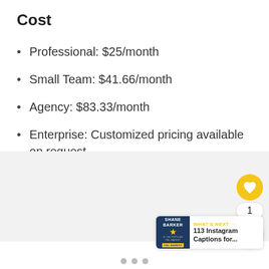Cost
Professional: $25/month
Small Team: $41.66/month
Agency: $83.33/month
Enterprise: Customized pricing available on request
[Figure (screenshot): Gray panel UI area with floating heart button (gold circle), like count '1', share button, and a 'What's Next' card showing Shane Barker logo and '113 Instagram Captions for...' preview. Three dot navigation indicators at bottom.]